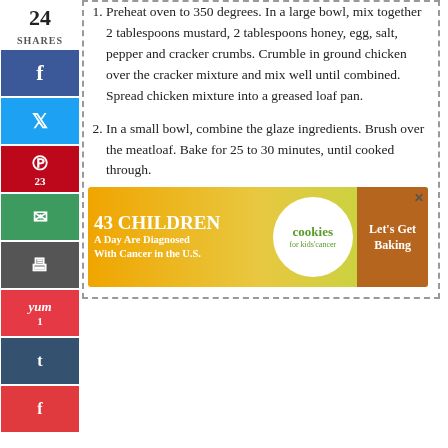24 SHARES
1. Preheat oven to 350 degrees. In a large bowl, mix together 2 tablespoons mustard, 2 tablespoons honey, egg, salt, pepper and cracker crumbs. Crumble in ground chicken over the cracker mixture and mix well until combined. Spread chicken mixture into a greased loaf pan.
2. In a small bowl, combine the glaze ingredients. Brush over the meatloaf. Bake for 25 to 30 minutes, until cooked through.
[Figure (infographic): Advertisement banner: '43 CHILDREN A Day Are Diagnosed With Cancer in the U.S.' with cookies for kids cancer logo and 'Let's Get Baking' call to action]
[Figure (photo): Close-up photo of pizza with pepperoni and cheese]